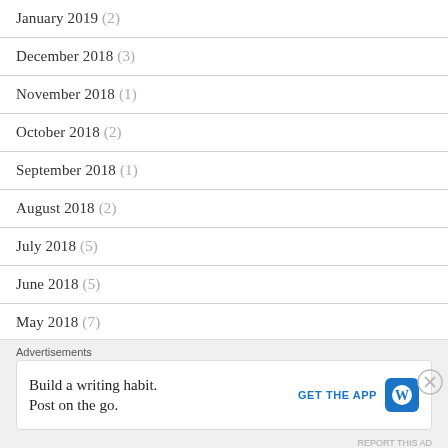January 2019 (2)
December 2018 (3)
November 2018 (1)
October 2018 (2)
September 2018 (1)
August 2018 (2)
July 2018 (5)
June 2018 (5)
May 2018 (7)
April 2018 (6)
March 2018 (8)
Advertisements
Build a writing habit. Post on the go. GET THE APP